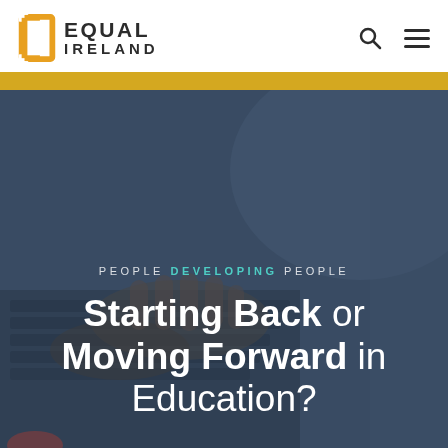[Figure (logo): Equal Ireland logo with yellow square bracket icon and bold text EQUAL IRELAND]
Equal Ireland website header with search and menu icons
[Figure (photo): Hero image of hands typing on a laptop keyboard with dark blue-grey overlay. Text overlay reads PEOPLE DEVELOPING PEOPLE and Starting Back or Moving Forward in Education?]